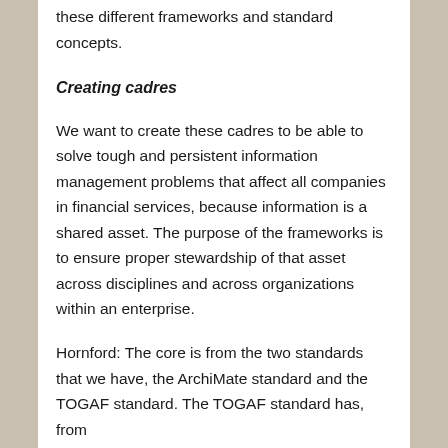these different frameworks and standard concepts.
Creating cadres
We want to create these cadres to be able to solve tough and persistent information management problems that affect all companies in financial services, because information is a shared asset. The purpose of the frameworks is to ensure proper stewardship of that asset across disciplines and across organizations within an enterprise.
Hornford: The core is from the two standards that we have, the ArchiMate standard and the TOGAF standard. The TOGAF standard has, from